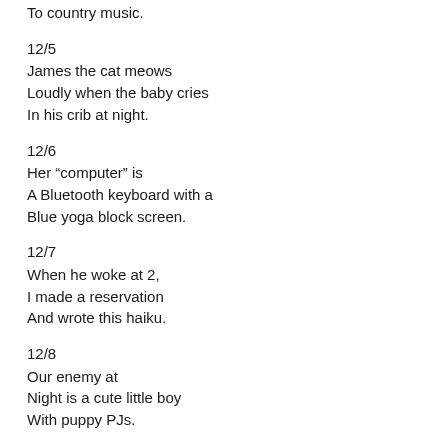To country music.
12/5
James the cat meows
Loudly when the baby cries
In his crib at night.
12/6
Her “computer” is
A Bluetooth keyboard with a
Blue yoga block screen.
12/7
When he woke at 2,
I made a reservation
And wrote this haiku.
12/8
Our enemy at
Night is a cute little boy
With puppy PJs.